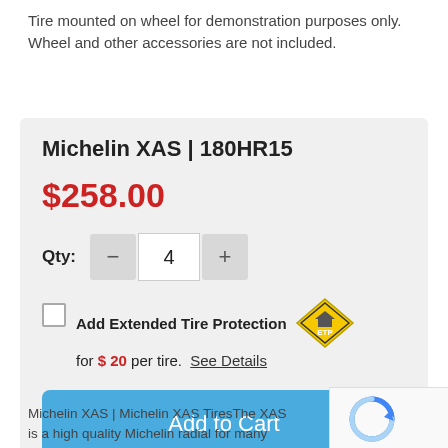Tire mounted on wheel for demonstration purposes only. Wheel and other accessories are not included.
Michelin XAS | 180HR15
$258.00
Qty: 4
Add Extended Tire Protection for $ 20 per tire. See Details
Add to Cart
Michelin XAS | Michelin XAS TiresThe XAS is a high quality Michelin radial for many popular European applications